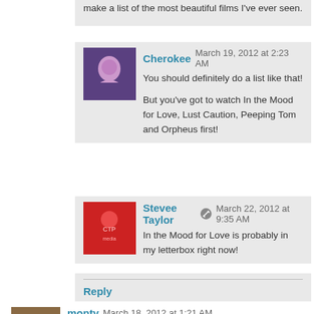make a list of the most beautiful films I've ever seen.
Cherokee March 19, 2012 at 2:23 AM
You should definitely do a list like that!

But you've got to watch In the Mood for Love, Lust Caution, Peeping Tom and Orpheus first!
Stevee Taylor March 22, 2012 at 9:35 AM
In the Mood for Love is probably in my letterbox right now!
Reply
monty March 18, 2012 at 1:21 AM
Blade Runner is one of my faves! I would put up against any of today's CGI blockbuster films. Blade Runner's